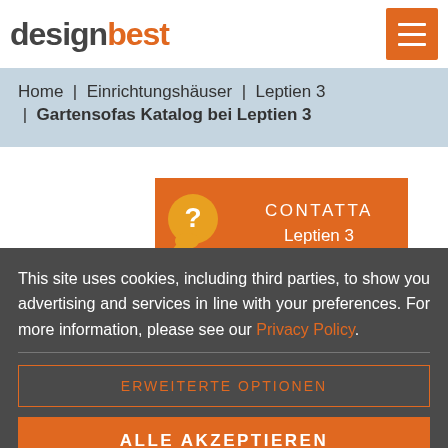designbest
Home | Einrichtungshäuser | Leptien 3 | Gartensofas Katalog bei Leptien 3
CONTATTA Leptien 3
This site uses cookies, including third parties, to show you advertising and services in line with your preferences. For more information, please see our Privacy Policy.
ERWEITERTE OPTIONEN
ALLE AKZEPTIEREN